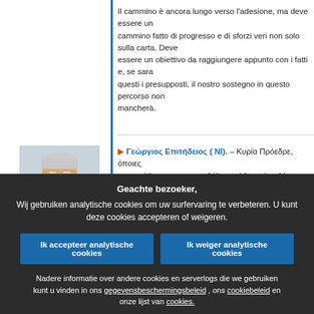Il cammino è ancora lungo verso l'adesione, ma deve essere un cammino fatto di progresso e di sforzi veri non solo sulla carta. Deve essere un obiettivo da raggiungere appunto con i fatti e, se saranno questi i presupposti, il nostro sostegno in questo percorso non mancherà.
[Figure (photo): Portrait photo of Γεώργιος Επιτήδειος, a senior man with white hair and mustache wearing a suit with red tie]
▶ Γεώργιος Επιτήδειος ( NI). – Κυρία Πρόεδρε, όποιες προσπάθειες και αν καταβάλει η αλβανική κυβέρνηση για να δημιουργήσει προϋποθέσεις ενάρξεως των συνομιλιών για την ένταξη της χώρας στην Ευρωπαϊκή Ένωση, τις υπονομεύει ουσιαστικά η ίδια για δύο λόγους. Ο πρώτος λόγος είναι ότι, είτε υποθάλπει, είτε ανέχεται τη δράση ορισμένων ακραίων κύκλων χώρας, οι οποίοι στο πλαίσιο των σχεδίων για δημιουργία Μεγά Αλβανίας εκφράζουν επεκτατικές βλέψεις επί εδαφών όλων των
Geachte bezoeker,
Wij gebruiken analytische cookies om uw surfervaring te verbeteren. U kunt deze cookies accepteren of weigeren.
Ik accepteer analytische cookies
Ik weiger analytische cookies
Nadere informatie over andere cookies en serverlogs die we gebruiken kunt u vinden in ons gegevensbeschermingsbeleid , ons cookiebeleid en onze lijst van cookies.